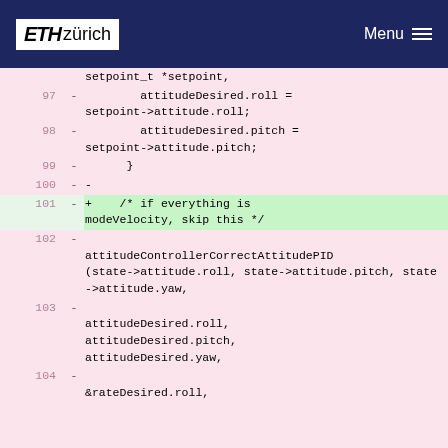ETH zürich  Menu
Code diff showing lines 97-104 of source code with deleted lines (marked with -) and one added line (marked with +). Content includes attitudeDesired.roll, attitudeDesired.pitch assignments, attitudeControllerCorrectAttitudePID call with state->attitude parameters, and &rateDesired.roll.